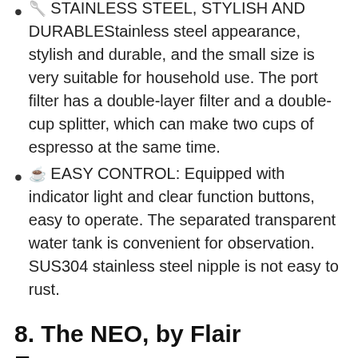🥄 STAINLESS STEEL, STYLISH AND DURABLEStainless steel appearance, stylish and durable, and the small size is very suitable for household use. The port filter has a double-layer filter and a double-cup splitter, which can make two cups of espresso at the same time.
☕ EASY CONTROL: Equipped with indicator light and clear function buttons, easy to operate. The separated transparent water tank is convenient for observation. SUS304 stainless steel nipple is not easy to rust.
8. The NEO, by Flair Espresso – An all manual lever espresso...